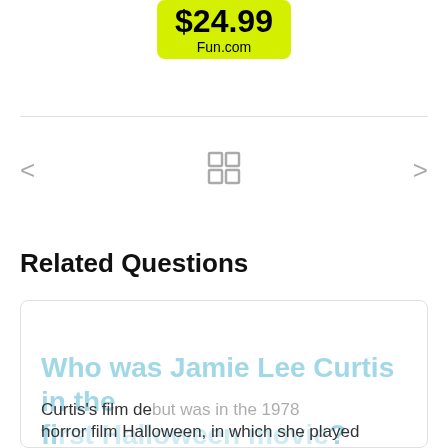[Figure (other): Price tag showing $24.99 from Fun.com with yellow-green background]
[Figure (other): Navigation area with left arrow, grid icon, and right arrow for browsing items]
Related Questions
Who was Jamie Lee Curtis in the first Halloween movie?
This website uses cookies to ensure you get the best experience on our website.  Learn more
Got it!
Curtis's film debut was in the 1978 horror film Halloween, in which she played